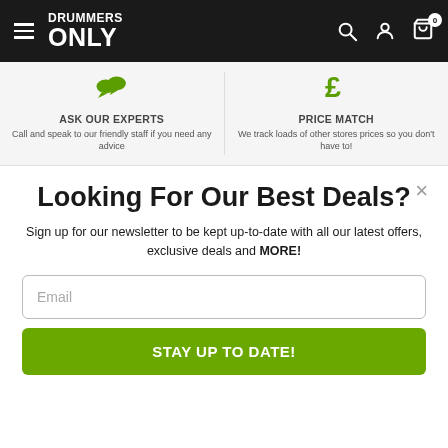Drummers Only
[Figure (infographic): Two-column feature bar: 'ASK OUR EXPERTS' with chat icon and 'PRICE MATCH' with pound icon]
Looking For Our Best Deals?
Sign up for our newsletter to be kept up-to-date with all our latest offers, exclusive deals and MORE!
Email
STAY UP TO DATE!